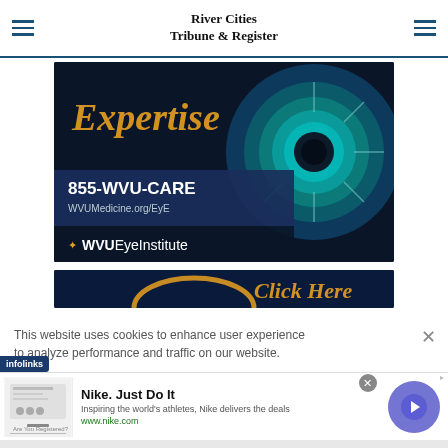River Cities Tribune & Register
[Figure (photo): WVU Eye Institute advertisement showing a close-up of a human eye with blue/gold tones, text '855-WVU-CARE', 'WVUMedicine.org/EyE', and 'WVU Eye Institute' logo with gold bird icon on dark navy background]
[Figure (photo): Partial second banner advertisement with dark navy background and gold/yellow text reading 'Click Here']
This website uses cookies to enhance user experience to analyze performance and traffic on our website.
[Figure (other): Nike advertisement: 'Nike. Just Do It' - Inspiring the world's athletes, Nike delivers the deals. www.nike.com]